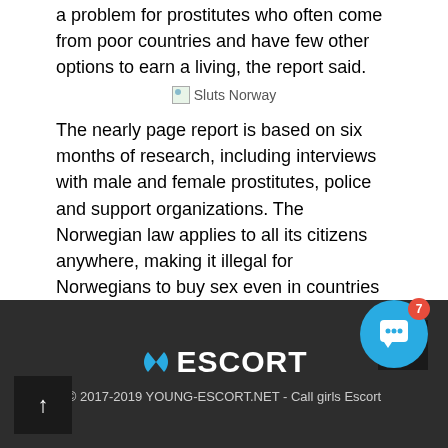a problem for prostitutes who often come from poor countries and have few other options to earn a living, the report said.
[Figure (photo): Broken image placeholder labeled 'Sluts Norway']
The nearly page report is based on six months of research, including interviews with male and female prostitutes, police and support organizations. The Norwegian law applies to all its citizens anywhere, making it illegal for Norwegians to buy sex even in countries where the activity is accepted. Penalties for breaking the law are set by local municipalities. Discover Thomson Reuters. Directory of sites. United States.
[Figure (photo): Broken image placeholder labeled 'SEX AGENCY in Norway']
ESCORT © 2017-2019 YOUNG-ESCORT.NET - Call girls Escort